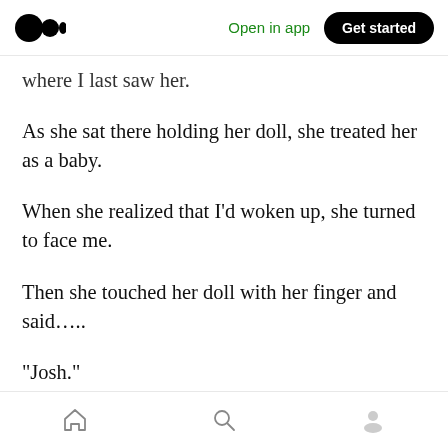Medium app header: logo, Open in app, Get started
where I last saw her.
As she sat there holding her doll, she treated her as a baby.
When she realized that I'd woken up, she turned to face me.
Then she touched her doll with her finger and said…..
“Josh.”
I can still hear that voice echoing in my head.
Bottom navigation bar: home, search, profile